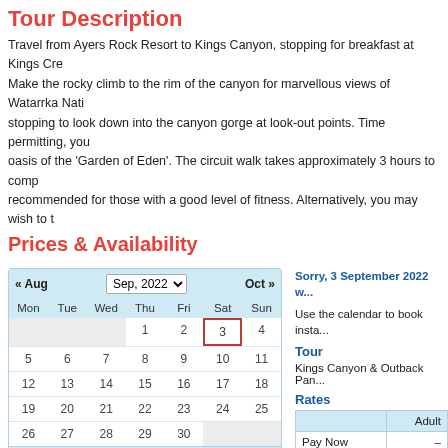Tour Description
Travel from Ayers Rock Resort to Kings Canyon, stopping for breakfast at Kings Cre... Make the rocky climb to the rim of the canyon for marvellous views of Watarrka Nati... stopping to look down into the canyon gorge at look-out points. Time permitting, you... oasis of the 'Garden of Eden'. The circuit walk takes approximately 3 hours to comp... recommended for those with a good level of fitness. Alternatively, you may wish to t... boulder strewn canyon floor. After lunch (own expense), return to Ayers Rock Resor...
Prices & Availability
[Figure (other): Calendar showing September 2022 with navigation to Aug and Oct. Days of week Mon-Sun. Dates 1-30 shown. Date 3 is highlighted with red border. Click a date to book footer. Legend: Available (green), Hot Deals (orange).]
Sorry, 3 September 2022 w...
Use the calendar to book insta...
Tour
Kings Canyon & Outback Pan...
Rates
|  | Adult |
| --- | --- |
| Pay Now | – |
Please Note: Prices are listed in...